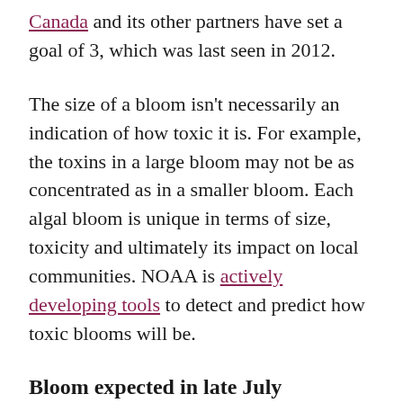Canada and its other partners have set a goal of 3, which was last seen in 2012.
The size of a bloom isn't necessarily an indication of how toxic it is. For example, the toxins in a large bloom may not be as concentrated as in a smaller bloom. Each algal bloom is unique in terms of size, toxicity and ultimately its impact on local communities. NOAA is actively developing tools to detect and predict how toxic blooms will be.
Bloom expected in late July
With cool lake temperatures in May and